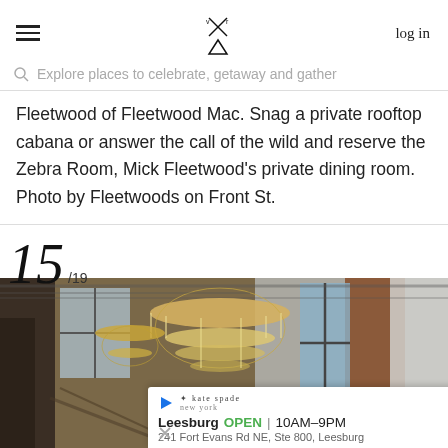≡  [logo]  log in
Explore places to celebrate, getaway and gather
Fleetwood of Fleetwood Mac. Snag a private rooftop cabana or answer the call of the wild and reserve the Zebra Room, Mick Fleetwood's private dining room. Photo by Fleetwoods on Front St.
15 /19
[Figure (photo): Interior of an upscale venue showing large ornate crystal chandeliers hanging from an industrial ceiling, brick walls, and large windows with blue frames.]
kate spade  Leesburg  OPEN | 10AM–9PM  241 Fort Evans Rd NE, Ste 800, Leesburg